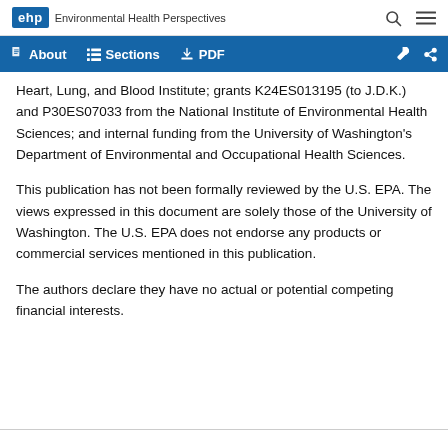ehp Environmental Health Perspectives
Heart, Lung, and Blood Institute; grants K24ES013195 (to J.D.K.) and P30ES07033 from the National Institute of Environmental Health Sciences; and internal funding from the University of Washington's Department of Environmental and Occupational Health Sciences.
This publication has not been formally reviewed by the U.S. EPA. The views expressed in this document are solely those of the University of Washington. The U.S. EPA does not endorse any products or commercial services mentioned in this publication.
The authors declare they have no actual or potential competing financial interests.